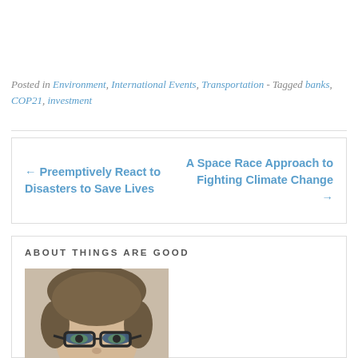Posted in Environment, International Events, Transportation - Tagged banks, COP21, investment
← Preemptively React to Disasters to Save Lives
A Space Race Approach to Fighting Climate Change →
ABOUT THINGS ARE GOOD
[Figure (photo): Headshot photo of a man with glasses and short brown hair]